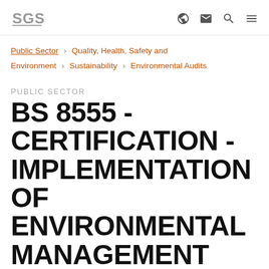SGS logo and navigation icons
Public Sector › Quality, Health, Safety and Environment › Sustainability › Environmental Audits
PUBLIC SECTOR
BS 8555 - CERTIFICATION - IMPLEMENTATION OF ENVIRONMENTAL MANAGEMENT SYSTEMS